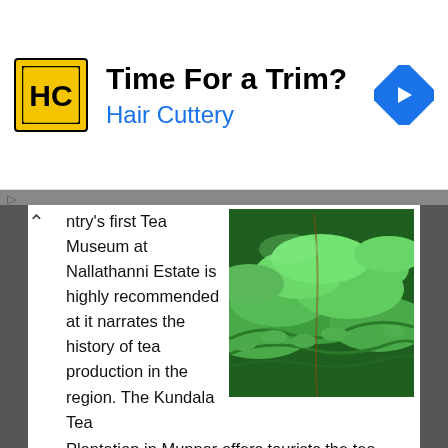[Figure (infographic): Hair Cuttery advertisement banner with HC logo in yellow square, text 'Time For a Trim?' and 'Hair Cuttery' in blue, and a blue navigation arrow diamond icon on the right]
ntry's first Tea Museum at Nallathanni Estate is highly recommended at it narrates the history of tea production in the region. The Kundala Tea Plantation in Munnar offers tourists the tea making process in great detail. Tea Sanctuary here is home to refurbished vintage colonial style bungalows amidst misty tea plantations. Considered the  highest altitude tea plantation in the world, Kolukkumalai, near Munnar, is known for preserving the British heritage in tea-making at the factory
[Figure (photo): Aerial photo of lush green tea plantation hills in Munnar]